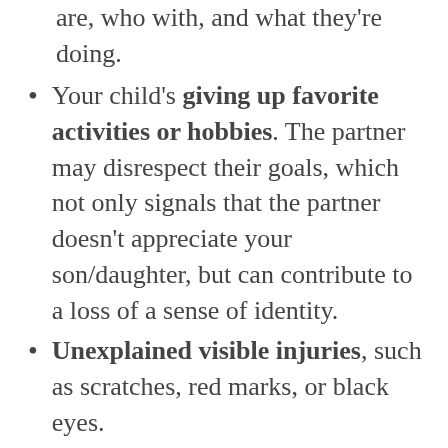are, who with, and what they're doing.
Your child's giving up favorite activities or hobbies. The partner may disrespect their goals, which not only signals that the partner doesn't appreciate your son/daughter, but can contribute to a loss of a sense of identity.
Unexplained visible injuries, such as scratches, red marks, or black eyes.
Frequent apologies, which can signal trying to appease a partner all the time. Keep in mind that toxic people have notoriously bad